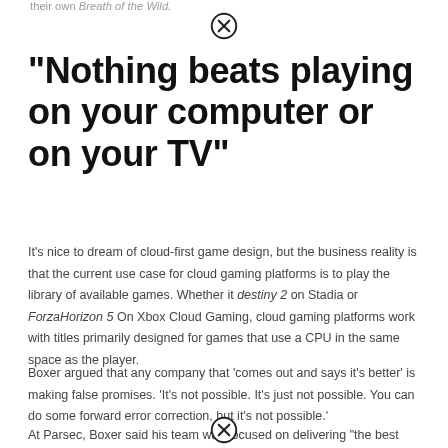their own Breath of the Wild.
“Nothing beats playing on your computer or on your TV”
It’s nice to dream of cloud-first game design, but the business reality is that the current use case for cloud gaming platforms is to play the library of available games. Whether it destiny 2 on Stadia or ForzaHorizon 5 On Xbox Cloud Gaming, cloud gaming platforms work with titles primarily designed for games that use a CPU in the same space as the player.
Boxer argued that any company that ‘comes out and says it’s better’ is making false promises. ‘It’s not possible. It’s just not possible. You can do some forward error correction, but it’s not possible.’
At Parsec, Boxer said his team was focused on delivering “the best that can